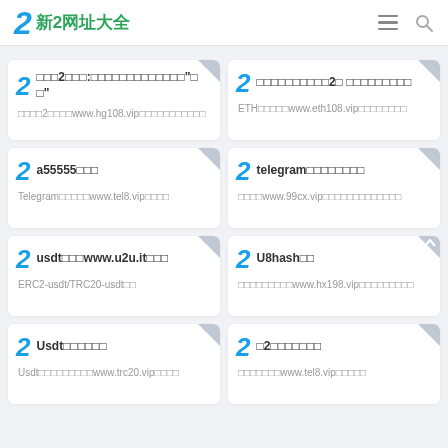2 新2网址大全
□□□2□□□:□□□□□□□□□□□□□"□□" □□□□2□□□□www.hg108.vip□□□□□□□□□□□
□□□□□□□□□□2□ □□□□□□□□□ ETH□□□□□www.eth108.vip□□□□□□□□
a55555□□□ Telegram□□□□□www.tel8.vip□□□□
telegram□□□□□□□□ □□□□www.99cx.vip□□□□□□□□□□□□□
usdt□□□www.u2u.it□□□ ERC2-usdt/TRC20-usdt□□
U8hash□□ □□□□□□□□□www.hx198.vip□□□□□□□□□
Usdt□□□□□□ Usdt□□□□□□□□□www.trc20.vip□□□□
□2□□□□□□□ □□□□□□□www.tel8.vip□□□□□